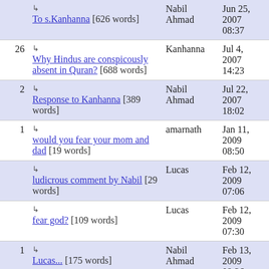| # | Title | Author | Date |
| --- | --- | --- | --- |
|  | ↳ To s.Kanhanna [626 words] | Nabil Ahmad | Jun 25, 2007 08:37 |
| 26 | ↳ Why Hindus are conspicously absent in Quran? [688 words] | Kanhanna | Jul 4, 2007 14:23 |
| 2 | ↳ Response to Kanhanna [389 words] | Nabil Ahmad | Jul 22, 2007 18:02 |
| 1 | ↳ would you fear your mom and dad [19 words] | amarnath | Jan 11, 2009 08:50 |
|  | ↳ ludicrous comment by Nabil [29 words] | Lucas | Feb 12, 2009 07:06 |
|  | ↳ fear god? [109 words] | Lucas | Feb 12, 2009 07:30 |
| 1 | ↳ Lucas... [175 words] | Nabil Ahmad | Feb 13, 2009 08:36 |
|  | ↳ BOO! [265 words] | Nabil Ahmad | Feb 13, 2009 08:49 |